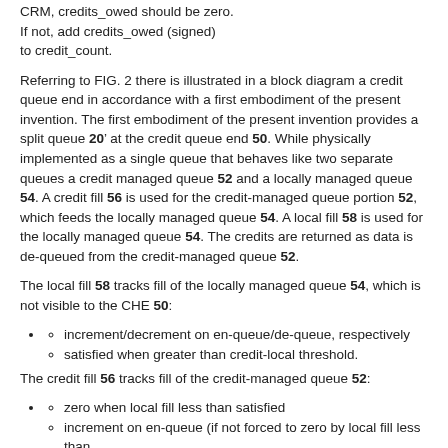CRM, credits_owed should be zero.
If not, add credits_owed (signed)
to credit_count.
Referring to FIG. 2 there is illustrated in a block diagram a credit queue end in accordance with a first embodiment of the present invention. The first embodiment of the present invention provides a split queue 20’ at the credit queue end 50. While physically implemented as a single queue that behaves like two separate queues a credit managed queue 52 and a locally managed queue 54. A credit fill 56 is used for the credit-managed queue portion 52, which feeds the locally managed queue 54. A local fill 58 is used for the locally managed queue 54. The credits are returned as data is de-queued from the credit-managed queue 52.
The local fill 58 tracks fill of the locally managed queue 54, which is not visible to the CHE 50:
increment/decrement on en-queue/de-queue, respectively
satisfied when greater than credit-local threshold.
The credit fill 56 tracks fill of the credit-managed queue 52:
zero when local fill less than satisfied
increment on en-queue (if not forced to zero by local fill less than